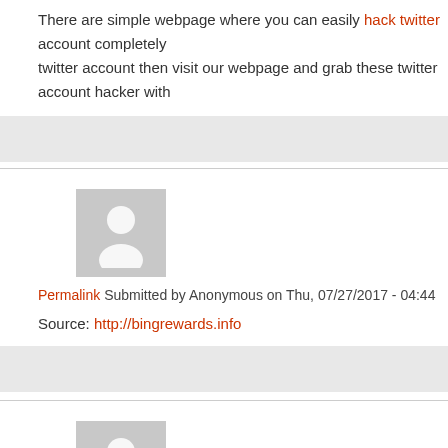There are simple webpage where you can easily hack twitter account completely twitter account then visit our webpage and grab these twitter account hacker with
[Figure (other): Gray bar / placeholder block]
[Figure (other): Anonymous user avatar placeholder - gray silhouette]
Permalink Submitted by Anonymous on Thu, 07/27/2017 - 04:44
Source: http://bingrewards.info
[Figure (other): Gray bar / placeholder block]
[Figure (other): Anonymous user avatar placeholder - gray silhouette]
Permalink Submitted by Anonymous on Fri, 09/08/2017 - 03:12
After Watch you video post i know about that. Thanks to share us a global news